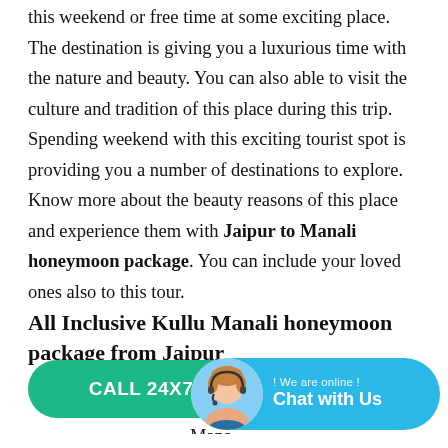this weekend or free time at some exciting place. The destination is giving you a luxurious time with the nature and beauty. You can also able to visit the culture and tradition of this place during this trip. Spending weekend with this exciting tourist spot is providing you a number of destinations to explore. Know more about the beauty reasons of this place and experience them with Jaipur to Manali honeymoon package. You can include your loved ones also to this tour.
All Inclusive Kullu Manali honeymoon package from Jaipur
…kend i… Mana…
[Figure (other): Green CALL 24X7 button and a blue Chat with Us widget with a female customer service avatar, showing '! We are online !' text above 'Chat with Us' label]